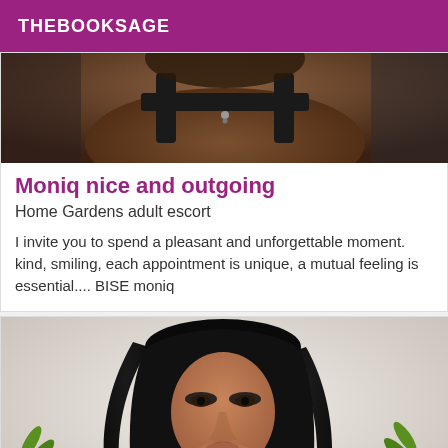THEBOOKSAGE
[Figure (photo): Partial photo of a person wearing a black bra, dark skin, with a small necklace pendant visible, cropped at chest/shoulder area]
Moniq nice and outgoing
Home Gardens adult escort
I invite you to spend a pleasant and unforgettable moment. kind, smiling, each appointment is unique, a mutual feeling is essential.... BISE moniq
[Figure (photo): Photo of a woman with long straight black hair, dark complexion, heavy eye makeup, wearing minimal clothing, with green plants in the background and a light/white wall backdrop]